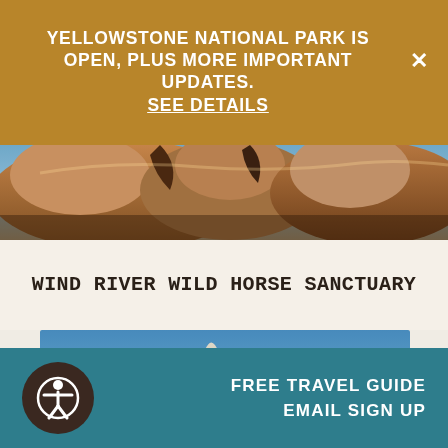YELLOWSTONE NATIONAL PARK IS OPEN, PLUS MORE IMPORTANT UPDATES. SEE DETAILS
[Figure (photo): Close-up photo of horses, brown coat visible]
WIND RIVER WILD HORSE SANCTUARY
[Figure (photo): Landscape photo of white rock formations and hoodoos under blue sky with green shrubs]
FREE TRAVEL GUIDE EMAIL SIGN UP